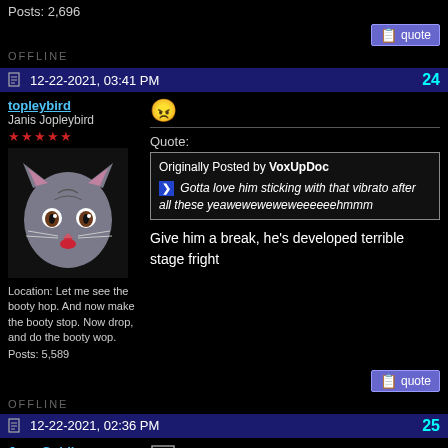Posts: 2,696
[Figure (other): Quote button with icon]
OFFLINE
12-22-2021, 03:41 PM
24
topleybird
Janis Jopleybird
★★★★★
[Figure (photo): Avatar: grey cat with surprised expression, mouth open, red tongue]
Location: Let me see the booty hop. And now make the booty stop. Now drop, and do the booty wop.
Posts: 5,589
Quote:
Originally Posted by VoxUpDoc
Gotta love him sticking with that vibrato after all these yeaweweweweweeeeeehmmm
Give him a break, he's developed terrible stage fright
[Figure (other): Quote button with icon]
OFFLINE
12-22-2021, 02:36 PM
25
Joey Goldberg
Minion of Satan